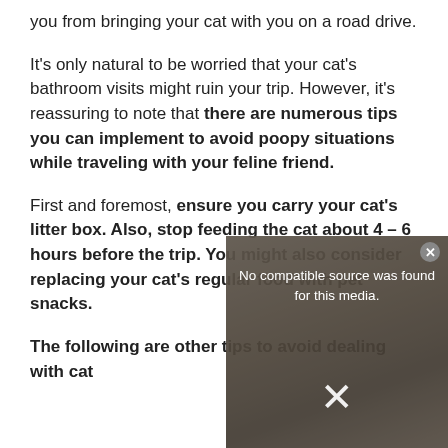you from bringing your cat with you on a road drive.
It's only natural to be worried that your cat's bathroom visits might ruin your trip. However, it's reassuring to note that there are numerous tips you can implement to avoid poopy situations while traveling with your feline friend.
First and foremost, ensure you carry your cat's litter box. Also, stop feeding the cat about 4 – 6 hours before the trip. You might also consider replacing your cat's regular food with pet snacks.
The following are other tips to avoid dealing with cat
[Figure (screenshot): Video player overlay showing 'No compatible source was found for this media.' message with a close button (x) and an X dismiss button, overlaid on a blurred image of a cat.]